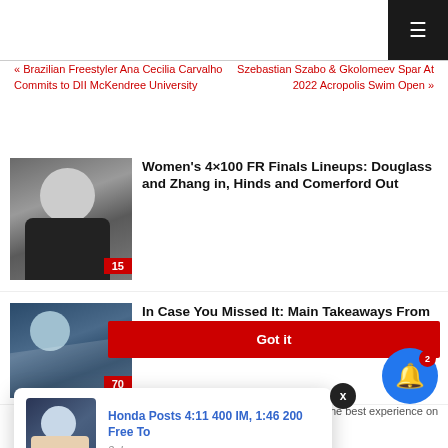≡ (hamburger menu icon)
« Brazilian Freestyler Ana Cecilia Carvalho Commits to DII McKendree University
Szebastian Szabo & Gkolomeev Spar At 2022 Acropolis Swim Open »
Women's 4×100 FR Finals Lineups: Douglass and Zhang in, Hinds and Comerford Out
In Case You Missed It: Main Takeaways From 2022 Aust...
[Figure (photo): Female swimmer smiling in black swimsuit and white swim cap, badge showing 15]
[Figure (photo): Swimmer in action in the water, badge showing 70]
[Figure (photo): Male swimmer popup notification thumbnail]
Honda Posts 4:11 400 IM, 1:46 200 Free To
3 days ago
Got it
This website uses cookies to ensure you get the best experience on our website.